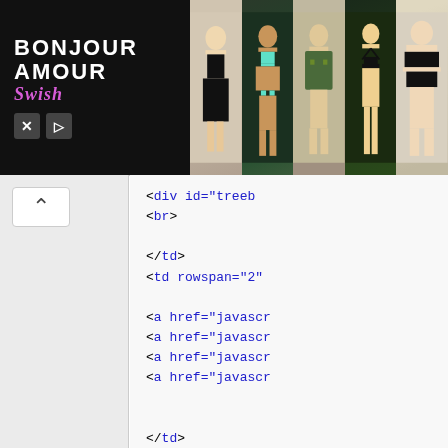[Figure (screenshot): Banner advertisement for 'Bonjour Amour Swish' showing logo on dark background on the left and five fashion model photos wearing swimwear/bikinis on the right. Bottom left of banner shows close (X) and play button icons.]
[Figure (screenshot): Browser developer tools / source code view showing HTML markup. Left panel shows a white box with an upward-pointing arrow (caret) on a light gray background. Right panel shows HTML source code in monospace font with black tags and blue attribute values, including: <div id='treeb', <br>, </td>, <td rowspan='2', <a href='javascr... (×4), </td>, </tr>, <tr>, <td>&nbsp;</td>, </tr>, </table>]